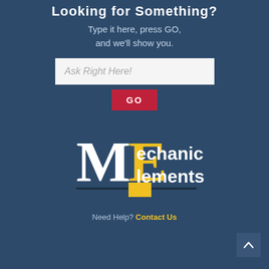Looking for Something?
Type it here, press GO, and we'll show you.
[Figure (screenshot): Search input field with placeholder text 'Ask Right Here!' and a red GO button below it]
[Figure (logo): Mechanical Elements logo with stylized ME letters in white and yellow on dark blue background]
Need Help? Contact Us